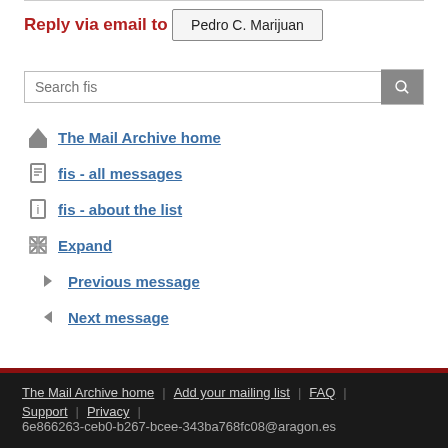Reply via email to
Pedro C. Marijuan
[Figure (other): Search input box with magnifying glass button labeled 'Search fis']
The Mail Archive home
fis - all messages
fis - about the list
Expand
Previous message
Next message
The Mail Archive home | Add your mailing list | FAQ | Support | Privacy | 6e866263-ceb0-b267-bcee-343ba768fc08@aragon.es